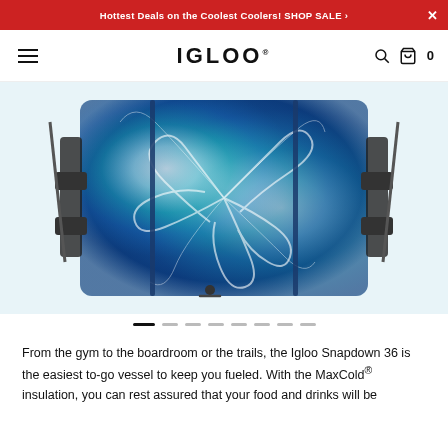Hottest Deals on the Coolest Coolers! SHOP SALE ›
[Figure (logo): IGLOO brand logo with hamburger menu, search icon, and cart icon showing 0 items]
[Figure (photo): Igloo Snapdown 36 soft cooler bag in tie-dye teal and blue pattern, shown from front with shoulder straps and buckles]
From the gym to the boardroom or the trails, the Igloo Snapdown 36 is the easiest to-go vessel to keep you fueled. With the MaxCold® insulation, you can rest assured that your food and drinks will be